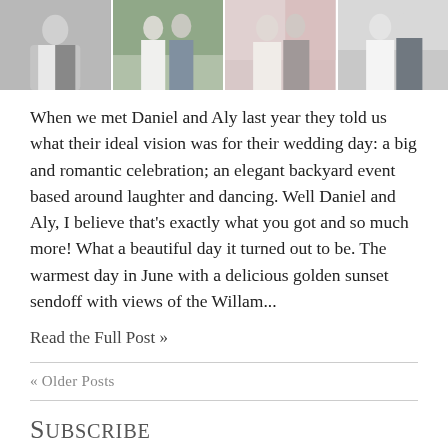[Figure (photo): Strip of four wedding photos showing couples in formal attire, brides in white dresses and grooms in dark suits, outdoors.]
When we met Daniel and Aly last year they told us what their ideal vision was for their wedding day: a big and romantic celebration; an elegant backyard event based around laughter and dancing. Well Daniel and Aly, I believe that's exactly what you got and so much more! What a beautiful day it turned out to be. The warmest day in June with a delicious golden sunset sendoff with views of the Willam...
Read the Full Post »
« Older Posts
Subscribe
RSS
Recent Posts
Rony & Jany's Family Beach Session